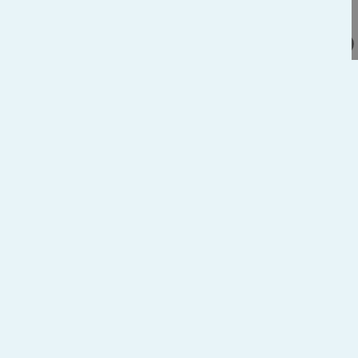[Figure (photo): Avatar photo showing a person on a bicycle with red bike, cropped]
Someone tried to succeeded for abo an unkillable bada tried to kill me wit description about Unkillable Badass
I'm clinically depre
[Figure (photo): Avatar photo showing a dark wolf-like creature illustration]
Orion Fury
July 23, 2016 at
Gotcha. Wait,
[Figure (illustration): Avatar cartoon illustration of a person with dark curly hair smiling]
katiuska
July 24, 201
Drivers are the road. I feel inconv feature ac in. I don't  kill him, bu and try to
[Figure (photo): Avatar photo partially visible at bottom right]
Orion